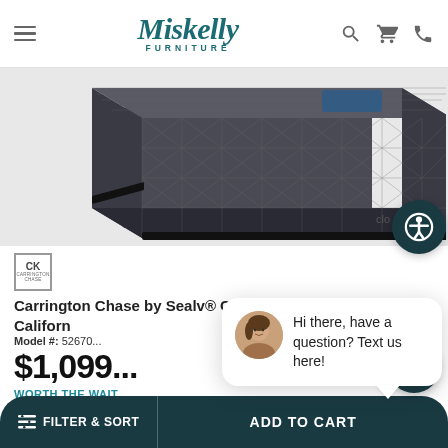Miskelly FURNITURE
[Figure (photo): Carrington Chase by Sealy Clairebrook Hybrid Firm mattress product photo, dark grey quilted fabric top view]
[Figure (logo): CK Carrington Chase brand logo, small square with CK initials]
Carrington Chase by Sealy® Clairebrook Hybrid Firm Californ...
Model #: 52670...
$1,099...
WORTH THE WAIT...
CHAT WITH SALES FOR MORE INFO
[Figure (photo): Chat popup with avatar photo of a woman and text: Hi there, have a question? Text us here!]
FILTER & SORT   ADD TO CART